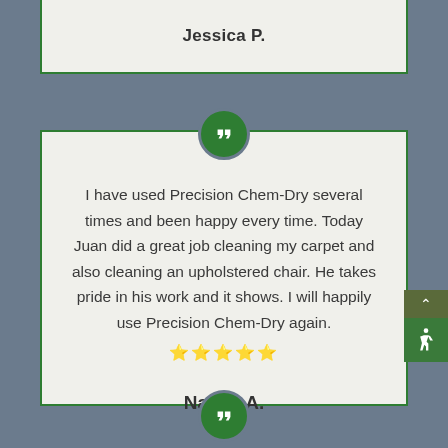Jessica P.
I have used Precision Chem-Dry several times and been happy every time. Today Juan did a great job cleaning my carpet and also cleaning an upholstered chair. He takes pride in his work and it shows. I will happily use Precision Chem-Dry again. ★★★★★
Nancy A.